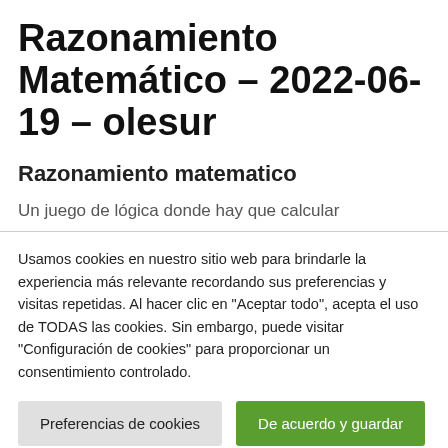Razonamiento Matemático – 2022-06-19 – olesur
Razonamiento matematico
Un juego de lógica donde hay que calcular
Usamos cookies en nuestro sitio web para brindarle la experiencia más relevante recordando sus preferencias y visitas repetidas. Al hacer clic en "Aceptar todo", acepta el uso de TODAS las cookies. Sin embargo, puede visitar "Configuración de cookies" para proporcionar un consentimiento controlado.
Preferencias de cookies | De acuerdo y guardar